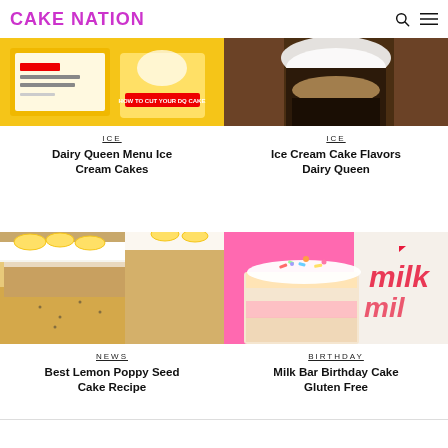CAKE NATION
[Figure (photo): Dairy Queen ice cream cake with yellow background and menu]
ICE
Dairy Queen Menu Ice Cream Cakes
[Figure (photo): Ice cream cake in a glass with chocolate topping]
ICE
Ice Cream Cake Flavors Dairy Queen
[Figure (photo): Best lemon poppy seed cake with white frosting and lemon slices]
NEWS
Best Lemon Poppy Seed Cake Recipe
[Figure (photo): Milk Bar birthday cake gluten free with colorful sprinkles and pink Milk Bar branding]
BIRTHDAY
Milk Bar Birthday Cake Gluten Free